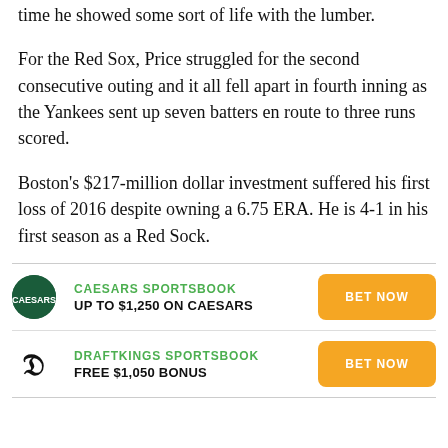time he showed some sort of life with the lumber.
For the Red Sox, Price struggled for the second consecutive outing and it all fell apart in fourth inning as the Yankees sent up seven batters en route to three runs scored.
Boston's $217-million dollar investment suffered his first loss of 2016 despite owning a 6.75 ERA. He is 4-1 in his first season as a Red Sock.
[Figure (infographic): Caesars Sportsbook advertisement: logo, 'CAESARS SPORTSBOOK', 'UP TO $1,250 ON CAESARS', orange 'BET NOW' button]
[Figure (infographic): DraftKings Sportsbook advertisement: logo, 'DRAFTKINGS SPORTSBOOK', 'FREE $1,050 BONUS', orange 'BET NOW' button]